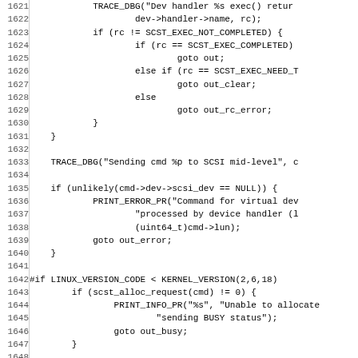[Figure (other): Source code listing showing lines 1621-1652 of a C file, displaying device handler execution logic, TRACE_DBG calls, PRINT_ERROR_PR calls, conditional checks for SCST execution states, Linux kernel version checks, and scst_do_req function call.]